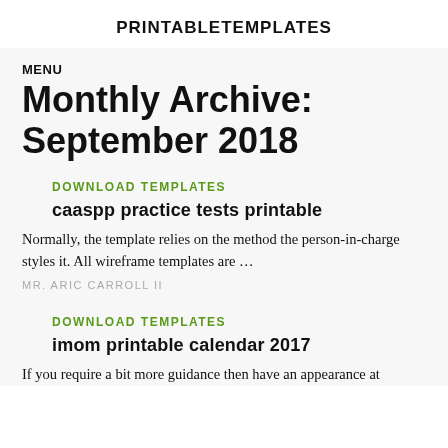PRINTABLETEMPLATES
MENU
Monthly Archive: September 2018
DOWNLOAD TEMPLATES
caaspp practice tests printable
Normally, the template relies on the method the person-in-charge styles it. All wireframe templates are ...
MR. ARIC CARROLL II
DOWNLOAD TEMPLATES
imom printable calendar 2017
If you require a bit more guidance then have an appearance at